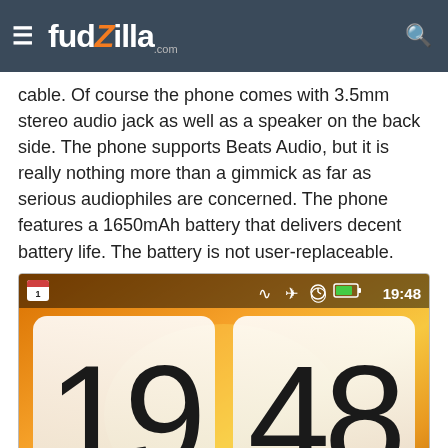fudzilla.com
cable. Of course the phone comes with 3.5mm stereo audio jack as well as a speaker on the back side. The phone supports Beats Audio, but it is really nothing more than a gimmick as far as serious audiophiles are concerned. The phone features a 1650mAh battery that delivers decent battery life. The battery is not user-replaceable.
[Figure (screenshot): Android phone lock screen showing time 19:48 on an HTC Sense-style flip clock widget with orange/golden background. Status bar shows calendar icon with '1', wifi, airplane mode, alarm, battery, and time 19:48. Cloud widget partially visible at bottom.]